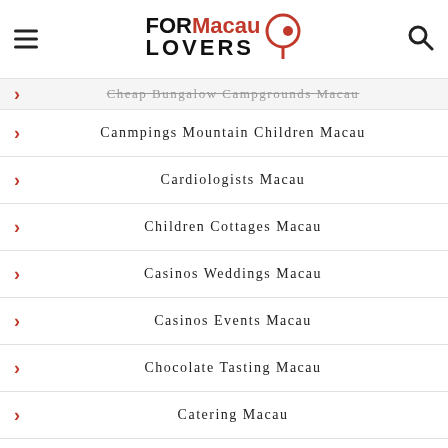FORMacau LOVERS
Cheap Bungalow Campgrounds Macau
Canmpings Mountain Children Macau
Cardiologists Macau
Children Cottages Macau
Casinos Weddings Macau
Casinos Events Macau
Chocolate Tasting Macau
Catering Macau
Christmas Company Dinners Macau